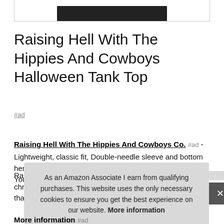[Figure (photo): Partial product image showing bottom of dark/black tank top on white background with border]
Raising Hell With The Hippies And Cowboys Halloween Tank Top
#ad
Raising Hell With The Hippies And Cowboys Co. #ad - Lightweight, classic fit, Double-needle sleeve and bottom hem. Your purchase might get this off the warehouse and in Rais... chri... that...
As an Amazon Associate I earn from qualifying purchases. This website uses the only necessary cookies to ensure you get the best experience on our website. More information
More information #ad